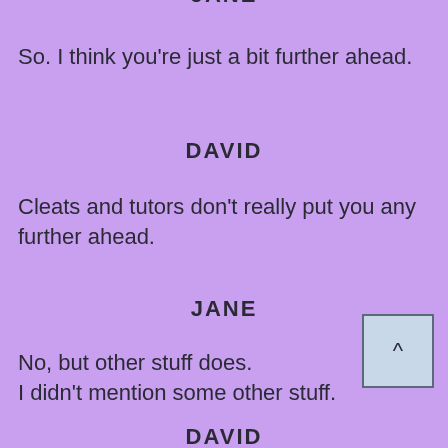JANE
So. I think you're just a bit further ahead.
DAVID
Cleats and tutors don't really put you any further ahead.
JANE
No, but other stuff does.
I didn't mention some other stuff.
DAVID